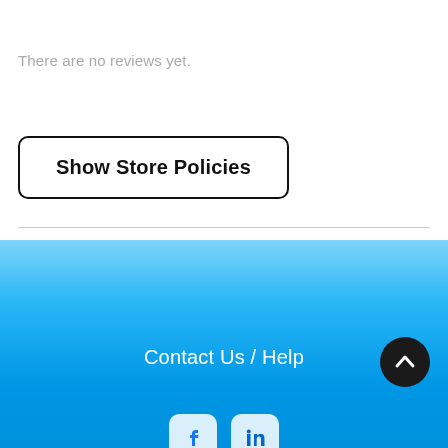There are no reviews yet.
Show Store Policies
Contact Us / Help
[Figure (other): Blue gradient footer background]
[Figure (other): Back to top arrow button (dark circle with up chevron)]
[Figure (other): Social media icons: Facebook and LinkedIn]